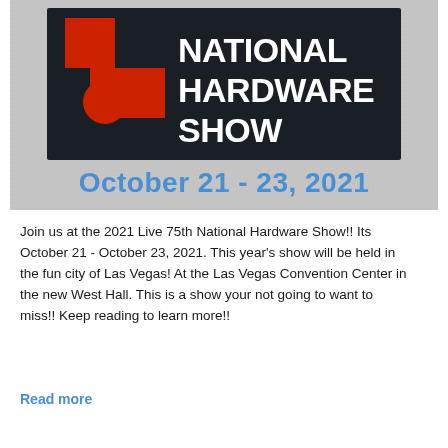[Figure (illustration): National Hardware Show banner with dark background logo featuring red and white 'NATIONAL HARDWARE SHOW' text with geometric red logo shape, and below it 'October 21 - 23, 2021' in large blue text on a textured light gray background.]
Join us at the 2021 Live 75th National Hardware Show!! Its October 21 - October 23, 2021. This year's show will be held in the fun city of Las Vegas! At the Las Vegas Convention Center in the new West Hall. This is a show your not going to want to miss!! Keep reading to learn more!!
Read more